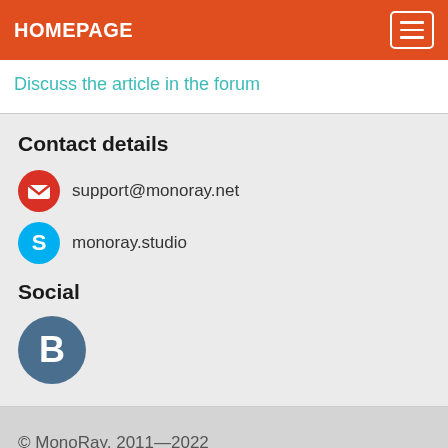HOMEPAGE
Discuss the article in the forum
Contact details
support@monoray.net
monoray.studio
Social
[Figure (logo): Blue circle with white letter B (social network icon)]
© MonoRay, 2011—2022